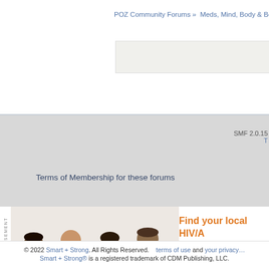POZ Community Forums » Meds, Mind, Body & Be...
[Figure (screenshot): Gray content box area from forum page]
SMF 2.0.15
T
Terms of Membership for these forums
[Figure (photo): Advertisement banner showing four people using laptops and tablets with text: Find your local HIV/A... and service orga...]
© 2022 Smart + Strong. All Rights Reserved.   terms of use and your privacy... Smart + Strong® is a registered trademark of CDM Publishing, LLC.